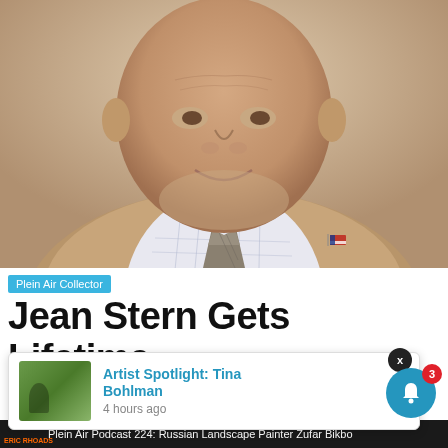[Figure (photo): Portrait of Jean Stern, an elderly man wearing a tan blazer, white plaid shirt, and grey patterned tie with a small American flag pin on his lapel, photographed from chest up against a neutral background.]
Plein Air Collector
Jean Stern Gets Lifetime Achievement Award From
[Figure (screenshot): Popup notification card showing 'Artist Spotlight: Tina Bohlman' with a thumbnail of a woman painting outdoors, timestamped '4 hours ago'. There is a close X button and a blue bell notification icon with a red badge showing 3.]
Plein Air Podcast 224: Russian Landscape Painter Zufar Bikbo